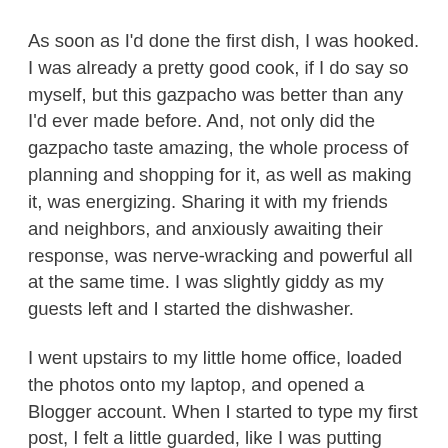As soon as I'd done the first dish, I was hooked. I was already a pretty good cook, if I do say so myself, but this gazpacho was better than any I'd ever made before. And, not only did the gazpacho taste amazing, the whole process of planning and shopping for it, as well as making it, was energizing. Sharing it with my friends and neighbors, and anxiously awaiting their response, was nerve-wracking and powerful all at the same time. I was slightly giddy as my guests left and I started the dishwasher.
I went upstairs to my little home office, loaded the photos onto my laptop, and opened a Blogger account. When I started to type my first post, I felt a little guarded, like I was putting myself out there more than I was comfortable with. I proofed and spell-checked the post, and as soon as I clicked the "Publish" button on that first entry, I knew I was in for a wild ride. But I didn't know then what I know now -- that the book and this blog would unlock something in me I still can't quite define.
It may sound odd coming from someone as cynical and